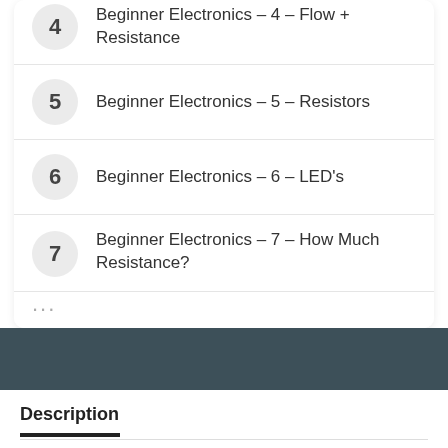4 – Beginner Electronics – 4 – Flow + Resistance
5 – Beginner Electronics – 5 – Resistors
6 – Beginner Electronics – 6 – LED's
7 – Beginner Electronics – 7 – How Much Resistance?
Description
Hey, what is going on everyone? My name is